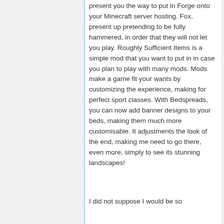present you the way to put in Forge onto your Minecraft server hosting. Fox, present up pretending to be fully hammered, in order that they will not let you play. Roughly Sufficient Items is a simple mod that you want to put in in case you plan to play with many mods. Mods make a game fit your wants by customizing the experience, making for perfect sport classes. With Bedspreads, you can now add banner designs to your beds, making them much more customisable. It adjustments the look of the end, making me need to go there, even more, simply to see its stunning landscapes!
I did not suppose I would be so